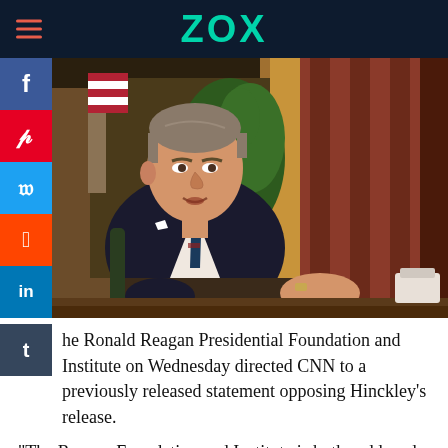ZOX
[Figure (photo): Photograph of Ronald Reagan seated at a desk in what appears to be the Oval Office, wearing a dark suit with a striped tie, plants and curtains visible in the background]
he Ronald Reagan Presidential Foundation and Institute on Wednesday directed CNN to a previously released statement opposing Hinckley's release.
"The Reagan Foundation and Institute is both saddened and concerned that John Hinckley, Jr will soon be